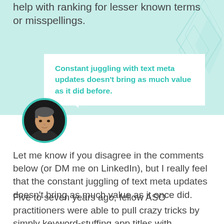help with ranking for lesser known terms or misspellings.
Constant juggling with text meta updates doesn't bring as much value as it did before.
[Figure (photo): Circular avatar portrait of a young man with short hair against a dark background, bordered with teal ring]
Let me know if you disagree in the comments below (or DM me on LinkedIn), but I really feel that the constant juggling of text meta updates doesn't bring as much value as it once did.
Five to seven years ago, fellow ASO practitioners were able to pull crazy tricks by simply keyword-stuffing app titles with